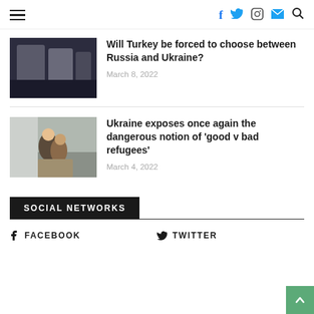Navigation and social icons header
Will Turkey be forced to choose between Russia and Ukraine?
March 8, 2022
Ukraine exposes once again the dangerous notion of 'good v bad refugees'
March 4, 2022
SOCIAL NETWORKS
FACEBOOK
TWITTER